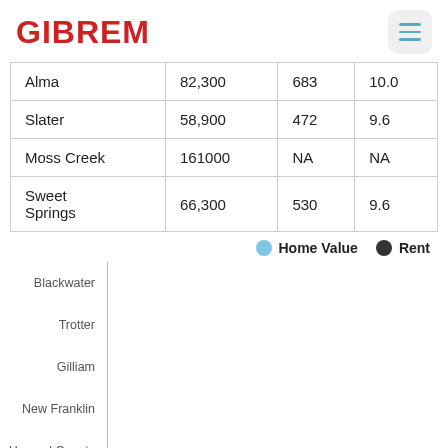GIBREM
| Alma | 82,300 | 683 | 10.0 |
| Slater | 58,900 | 472 | 9.6 |
| Moss Creek | 161000 | NA | NA |
| Sweet Springs | 66,300 | 530 | 9.6 |
[Figure (bar-chart): Horizontal bar chart showing Home Value and Rent for various locations. Chart bars not visible in cropped view.]